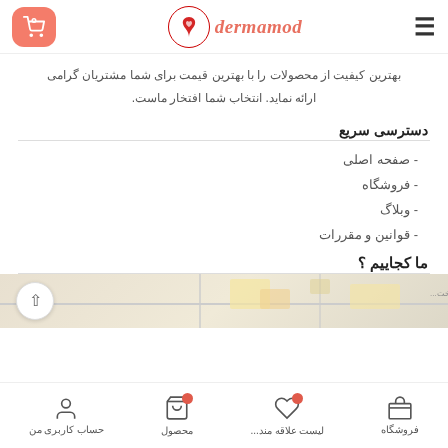dermamod header with cart and hamburger menu
بهترین کیفیت از محصولات را با بهترین قیمت برای شما مشتریان گرامی ارائه نماید. انتخاب شما افتخار ماست.
دسترسی سریع
- صفحه اصلی
- فروشگاه
- وبلاگ
- قوانین و مقررات
ما کجاییم ؟
[Figure (map): Partial map view with up arrow button]
Bottom navigation: فروشگاه | لیست علاقه مند... | محصول | حساب کاربری من